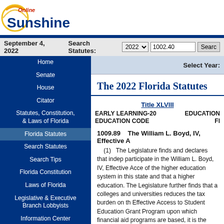[Figure (logo): Online Sunshine logo with circular yellow/orange arc graphic and blue 'Sunshine' text]
September 4, 2022   Search Statutes: 2022 ▼  1002.40  Search
Home
Senate
House
Citator
Statutes, Constitution, & Laws of Florida
Florida Statutes
Search Statutes
Search Tips
Florida Constitution
Laws of Florida
Legislative & Executive Branch Lobbyists
Information Center
Joint Legislative Committees & Other Entities
Historical Committees
Florida Government Efficiency Task Force
Legislative Employment
Legistore
Select Year:
The 2022 Florida Statutes
Title XLVIII
EARLY LEARNING-20
EDUCATION CODE
EDUCATION
Fl
1009.89    The William L. Boyd, IV, Effective A
(1)    The Legislature finds and declares that indep participate in the William L. Boyd, IV, Effective Acce of the higher education system in this state and that a higher education. The Legislature further finds that a colleges and universities reduces the tax burden on th Effective Access to Student Education Grant Program upon which financial aid programs are based, it is the Effective Access to Student Education Grant Program